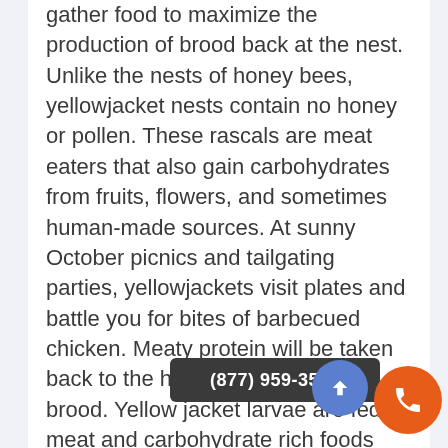gather food to maximize the production of brood back at the nest. Unlike the nests of honey bees, yellowjacket nests contain no honey or pollen. These rascals are meat eaters that also gain carbohydrates from fruits, flowers, and sometimes human-made sources. At sunny October picnics and tailgating parties, yellowjackets visit plates and battle you for bites of barbecued chicken. Meaty protein will be taken back to the hive for the developing brood. Yellow jacket larvae are fed meat and carbohydrate rich foods provided by the workers. Natural prey items of yellow jackets are other insects such as caterpillars and beetles that plague garden and landscape plants. In this regard, yellowjackets are highly be
(877) 959-3534